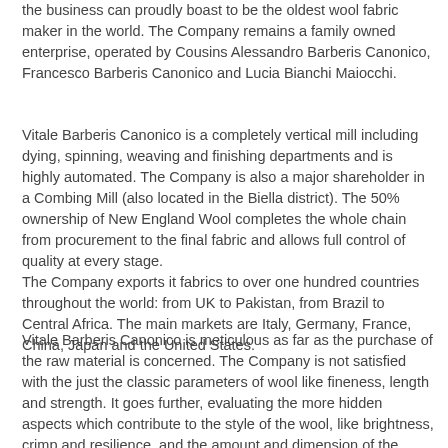the business can proudly boast to be the oldest wool fabric maker in the world. The Company remains a family owned enterprise, operated by Cousins Alessandro Barberis Canonico, Francesco Barberis Canonico and Lucia Bianchi Maiocchi.
Vitale Barberis Canonico is a completely vertical mill including dying, spinning, weaving and finishing departments and is highly automated. The Company is also a major shareholder in a Combing Mill (also located in the Biella district). The 50% ownership of New England Wool completes the whole chain from procurement to the final fabric and allows full control of quality at every stage.
The Company exports it fabrics to over one hundred countries throughout the world: from UK to Pakistan, from Brazil to Central Africa. The main markets are Italy, Germany, France, China, Japan and the United States.
Vitale Barberis Canonico is meticulous as far as the purchase of the raw material is concerned. The Company is not satisfied with the just the classic parameters of wool like fineness, length and strength. It goes further, evaluating the more hidden aspects which contribute to the style of the wool, like brightness, crimp and resilience, and the amount and dimension of the scales on the wool fibre. All in all, only most suitably bred and prepared